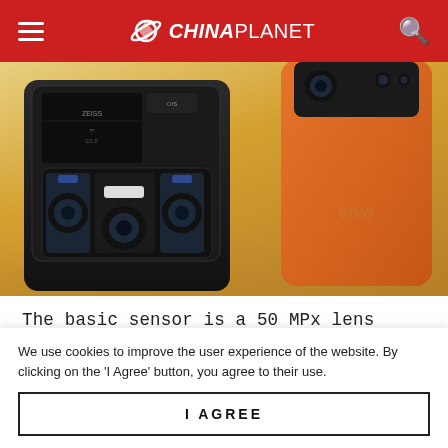CHINAPLANET
[Figure (photo): Two Vivo smartphones shown from the back — one in black with a prominent multi-lens camera module, one in orange with the Vivo logo, placed against a warm golden bokeh background.]
The basic sensor is a 50 MPx lens with an aperture of f/16 and optical image stabilization. It does not
We use cookies to improve the user experience of the website. By clicking on the 'I Agree' button, you agree to their use.
I AGREE